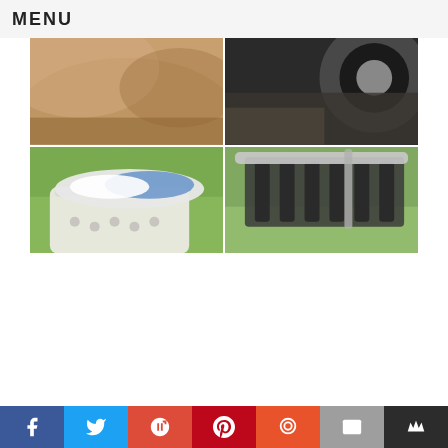MENU
[Figure (photo): A 2x2 photo grid collage showing outdoor scenes: top-left is a close-up of an animal (tan/brown fur), top-right shows a dark heavy machine wheel/track in soil, bottom-left shows a laundry basket with white and blue clothes on grass, bottom-right shows a dark metal garden rake or similar tool on grass.]
Social sharing bar with icons: Facebook, Twitter, Google+, Pinterest, Yummly, Email, Bloglovin